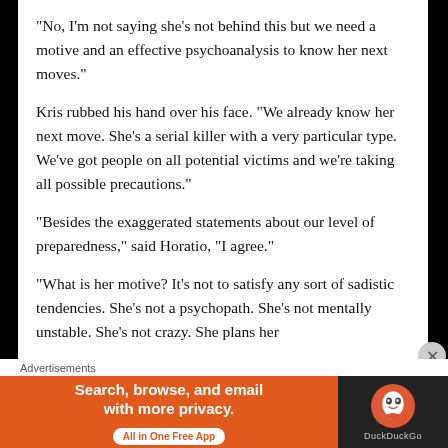“No, I’m not saying she’s not behind this but we need a motive and an effective psychoanalysis to know her next moves.”
Kris rubbed his hand over his face. “We already know her next move. She’s a serial killer with a very particular type. We’ve got people on all potential victims and we’re taking all possible precautions.”
“Besides the exaggerated statements about our level of preparedness,” said Horatio, “I agree.”
“What is her motive? It’s not to satisfy any sort of sadistic tendencies. She’s not a psychopath. She’s not mentally unstable. She’s not crazy. She plans her
Advertisements
[Figure (infographic): DuckDuckGo advertisement banner: orange background with text 'Search, browse, and email with more privacy. All in One Free App' and DuckDuckGo logo on dark background]